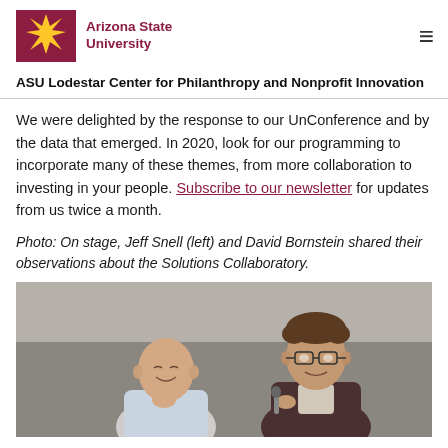ASU Arizona State University
ASU Lodestar Center for Philanthropy and Nonprofit Innovation
We were delighted by the response to our UnConference and by the data that emerged. In 2020, look for our programming to incorporate many of these themes, from more collaboration to investing in your people. Subscribe to our newsletter for updates from us twice a month.
Photo: On stage, Jeff Snell (left) and David Bornstein shared their observations about the Solutions Collaboratory.
[Figure (photo): Two men on stage: one bald man on the left smiling with hand on chin (Jeff Snell), and a man with glasses and curly hair on the right speaking and gesturing (David Bornstein), against a gray background.]